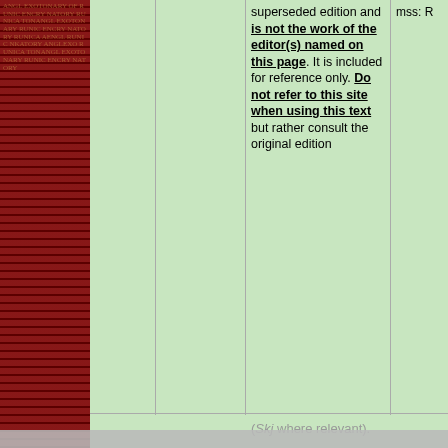superseded edition and is not the work of the editor(s) named on this page. It is included for reference only. Do not refer to this site when using this text but rather consult the original edition
mss: R
(Skj where relevant).
Sjúkum kálfi, sjálfráða þræli, völu vilmæli,
88  Vol. [not skaldic: Hávamál 88] — Háv
Skj: Not
Skj: Ijó
ed. NS
group: X
mss: R
Cookies on our website
We use cookies on this website, mainly to provide a secure browsing experience but also to collect statistics on how the website is used. You can find out more about the cookies we set, the information we store and how we use it on the cookies page.
Continue
The following text is from a superseded edition and is not the work of the